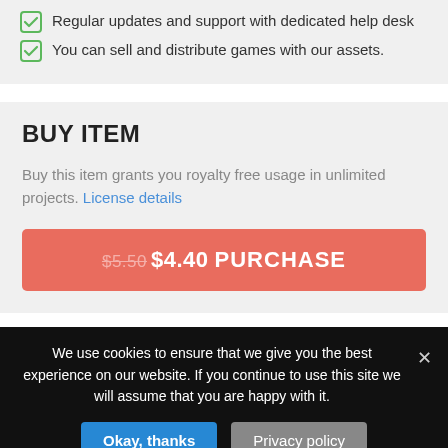Regular updates and support with dedicated help desk
You can sell and distribute games with our assets.
BUY ITEM
Buy this item grants you royalty free usage in unlimited projects. License details
$5.50 $4.40 PURCHASE
We use cookies to ensure that we give you the best experience on our website. If you continue to use this site we will assume that you are happy with it.
Okay, thanks
Privacy policy